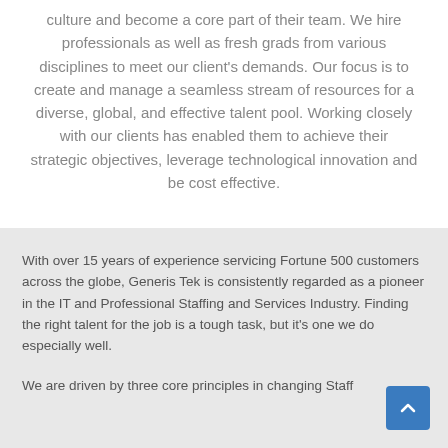culture and become a core part of their team. We hire professionals as well as fresh grads from various disciplines to meet our client's demands. Our focus is to create and manage a seamless stream of resources for a diverse, global, and effective talent pool. Working closely with our clients has enabled them to achieve their strategic objectives, leverage technological innovation and be cost effective.
With over 15 years of experience servicing Fortune 500 customers across the globe, Generis Tek is consistently regarded as a pioneer in the IT and Professional Staffing and Services Industry. Finding the right talent for the job is a tough task, but it's one we do especially well.
We are driven by three core principles in changing Staff